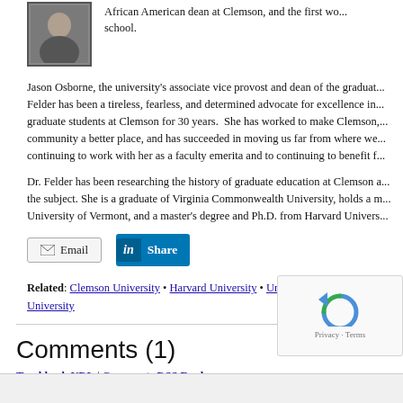[Figure (photo): Portrait photo of a person (headshot), with border]
African American dean at Clemson, and the first wo... school.
Jason Osborne, the university's associate vice provost and dean of the graduat... Felder has been a tireless, fearless, and determined advocate for excellence in... graduate students at Clemson for 30 years. She has worked to make Clemson,... community a better place, and has succeeded in moving us far from where we... continuing to work with her as a faculty emerita and to continuing to benefit f...
Dr. Felder has been researching the history of graduate education at Clemson a... the subject. She is a graduate of Virginia Commonwealth University, holds a m... University of Vermont, and a master's degree and Ph.D. from Harvard Univers...
Email | Share (LinkedIn)
Related: Clemson University • Harvard University • University of Vermont • ... University
Comments (1)
Trackback URL | Comments RSS Feed